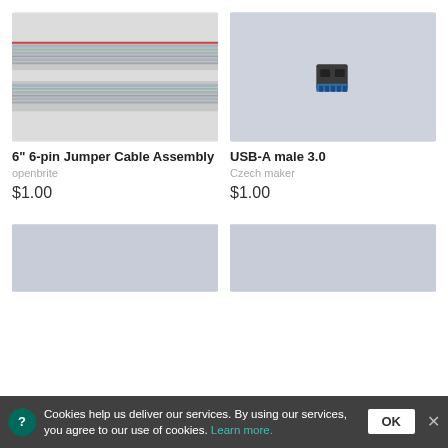[Figure (photo): Close-up photo of a 6-inch 6-pin ribbon jumper cable assembly showing grey and blue striped flat ribbon cable]
[Figure (photo): Photo of a small USB-A male 3.0 connector component on a light grey background]
6" 6-pin Jumper Cable Assembly
openbrite
$1.00
USB-A male 3.0
Czech maker
$1.00
[Figure (photo): Partial product image, light grey/blue background, bottom of page]
[Figure (photo): Partial product image, light grey/blue background, bottom of page]
Cookies help us deliver our services. By using our services, you agree to our use of cookies. Learn more.